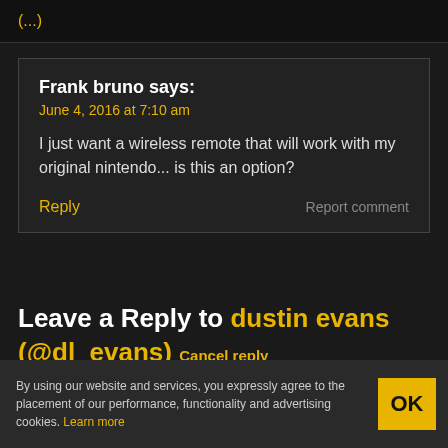(...)
Frank bruno says:
June 4, 2016 at 7:10 am
I just want a wireless remote that will work with my original nintendo... is this an option?
Reply   Report comment
Leave a Reply to dustin evans (@dl_evans) Cancel reply
Enter your comment here...
By using our website and services, you expressly agree to the placement of our performance, functionality and advertising cookies. Learn more